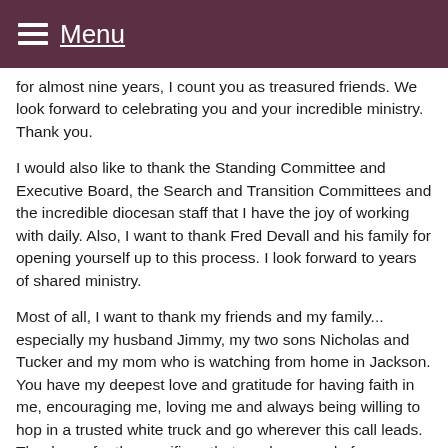Menu
for almost nine years, I count you as treasured friends. We look forward to celebrating you and your incredible ministry. Thank you.
I would also like to thank the Standing Committee and Executive Board, the Search and Transition Committees and the incredible diocesan staff that I have the joy of working with daily. Also, I want to thank Fred Devall and his family for opening yourself up to this process. I look forward to years of shared ministry.
Most of all, I want to thank my friends and my family... especially my husband Jimmy, my two sons Nicholas and Tucker and my mom who is watching from home in Jackson. You have my deepest love and gratitude for having faith in me, encouraging me, loving me and always being willing to hop in a trusted white truck and go wherever this call leads. Thank you for the sacrifices that you have made for me. Having each of you by my side is my greatest gift.